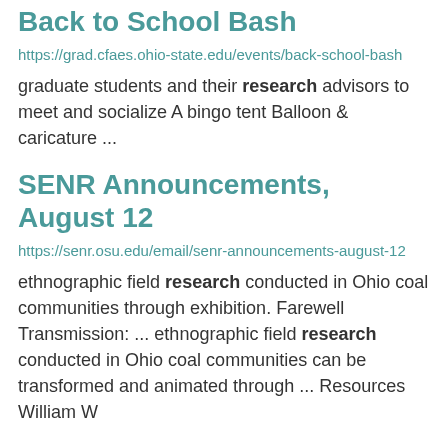Back to School Bash
https://grad.cfaes.ohio-state.edu/events/back-school-bash
graduate students and their research advisors to meet and socialize A bingo tent Balloon & caricature ...
SENR Announcements, August 12
https://senr.osu.edu/email/senr-announcements-august-12
ethnographic field research conducted in Ohio coal communities through exhibition. Farewell Transmission: ... ethnographic field research conducted in Ohio coal communities can be transformed and animated through ... Resources William W